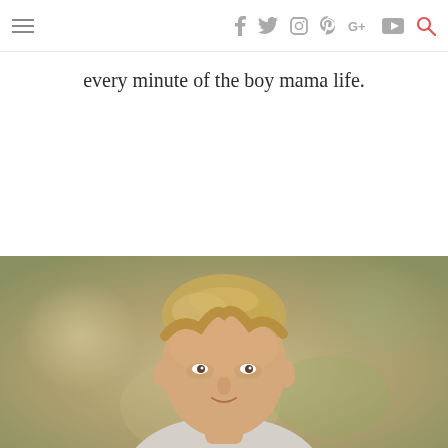≡  f  t  instagram  pinterest  G+  youtube  🔍
every minute of the boy mama life.
[Figure (photo): Photo of a young blonde boy, cropped to show head and shoulders, with a blurred outdoor background in warm brown/green tones.]